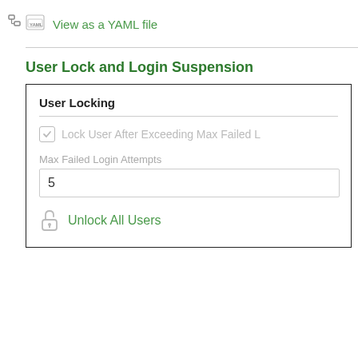[Figure (screenshot): Small tree/hierarchy icon in sidebar]
View as a YAML file
User Lock and Login Suspension
User Locking
Lock User After Exceeding Max Failed L
Max Failed Login Attempts
5
Unlock All Users